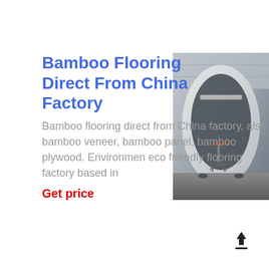Bamboo Flooring Direct From China Factory
Bamboo flooring direct from China factory, also bamboo veneer, bamboo panel, bamboo plywood. Environmen eco friendly flooring factory based in
Get price
[Figure (photo): Interior photo showing a curved white pod or booth with a stool/chair inside, office or showroom setting]